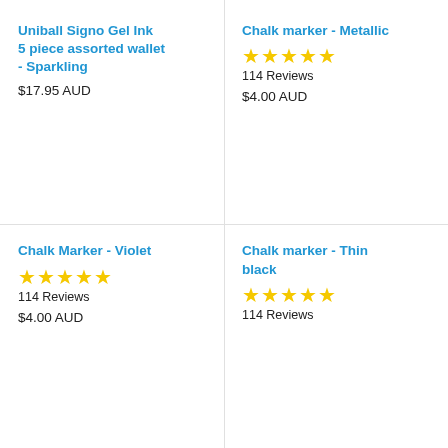Uniball Signo Gel Ink 5 piece assorted wallet - Sparkling
$17.95 AUD
Chalk marker - Metallic
★★★★★
114 Reviews
$4.00 AUD
Chalk Marker - Violet
★★★★★
114 Reviews
$4.00 AUD
Chalk marker - Thin black
★★★★★
114 Reviews